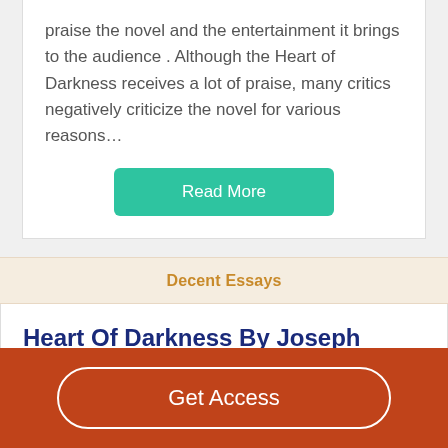praise the novel and the entertainment it brings to the audience . Although the Heart of Darkness receives a lot of praise, many critics negatively criticize the novel for various reasons…
Read More
Decent Essays
Heart Of Darkness By Joseph Conrad Rhetorical Analysis Essay
1336 Words
6 Pages
Get Access